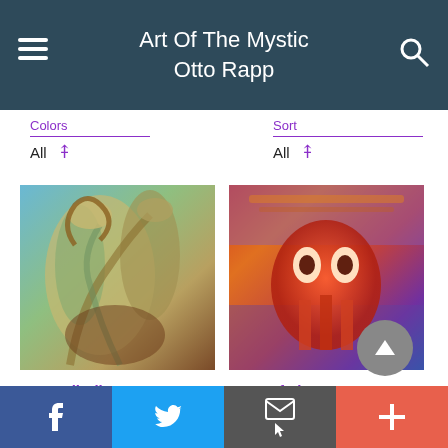Art Of The Mystic
Otto Rapp
Colors
All
Sort
All
[Figure (photo): Bogomil Alien artwork by Otto Rapp — surreal sculpture of alien plant-like forms in turquoise and brown tones]
Bogomil Alien...
Otto Rapp
[Figure (photo): Face Of The... artwork by Otto Rapp — psychedelic face with red and orange demonic features on complex background]
Face Of Th...
Otto Rapp
$14
Print
f  [Twitter]  [Email]  +